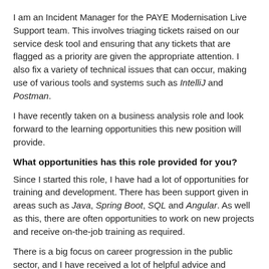I am an Incident Manager for the PAYE Modernisation Live Support team. This involves triaging tickets raised on our service desk tool and ensuring that any tickets that are flagged as a priority are given the appropriate attention. I also fix a variety of technical issues that can occur, making use of various tools and systems such as IntelliJ and Postman.
I have recently taken on a business analysis role and look forward to the learning opportunities this new position will provide.
What opportunities has this role provided for you?
Since I started this role, I have had a lot of opportunities for training and development. There has been support given in areas such as Java, Spring Boot, SQL and Angular. As well as this, there are often opportunities to work on new projects and receive on-the-job training as required.
There is a big focus on career progression in the public sector, and I have received a lot of helpful advice and guidance from my colleagues on my own career development.